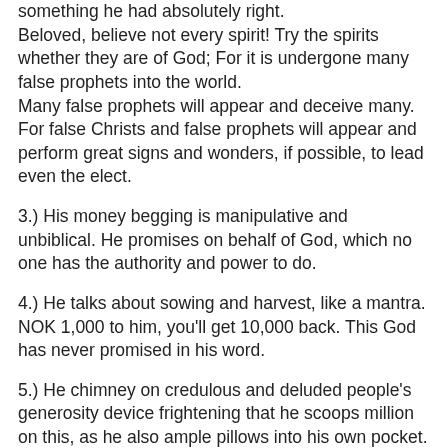something he had absolutely right.
Beloved, believe not every spirit! Try the spirits whether they are of God; For it is undergone many false prophets into the world.
Many false prophets will appear and deceive many.
For false Christs and false prophets will appear and perform great signs and wonders, if possible, to lead even the elect.
3.) His money begging is manipulative and unbiblical. He promises on behalf of God, which no one has the authority and power to do.
4.) He talks about sowing and harvest, like a mantra. NOK 1,000 to him, you'll get 10,000 back. This God has never promised in his word.
5.) He chimney on credulous and deluded people's generosity device frightening that he scoops million on this, as he also ample pillows into his own pocket.
6.) Condemning others and rebuke others but even in sin and engaged in unbiblical teachings. This is contrary to Jesus! Someone on the Mountain and God has altitude above...